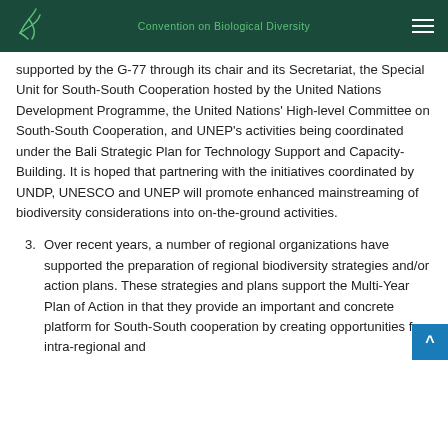Convention on Biological Diversity
supported by the G-77 through its chair and its Secretariat, the Special Unit for South-South Cooperation hosted by the United Nations Development Programme, the United Nations' High-level Committee on South-South Cooperation, and UNEP's activities being coordinated under the Bali Strategic Plan for Technology Support and Capacity-Building. It is hoped that partnering with the initiatives coordinated by UNDP, UNESCO and UNEP will promote enhanced mainstreaming of biodiversity considerations into on-the-ground activities.
3. Over recent years, a number of regional organizations have supported the preparation of regional biodiversity strategies and/or action plans. These strategies and plans support the Multi-Year Plan of Action in that they provide an important and concrete platform for South-South cooperation by creating opportunities for intra-regional and